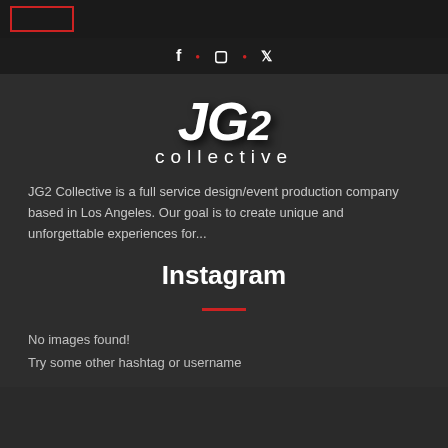JG2 Collective logo box header bar
f • instagram • twitter navigation icons
[Figure (logo): JG2 Collective logo with bold italic white JG2 text and 'collective' in thin spaced letters below]
JG2 Collective is a full service design/event production company based in Los Angeles. Our goal is to create unique and unforgettable experiences for...
Instagram
No images found!
Try some other hashtag or username